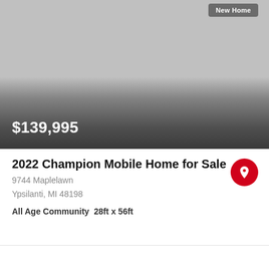[Figure (photo): Photo of a mobile home listing with gradient overlay showing price $139,995 and a 'New Home' badge in the top right corner]
2022 Champion Mobile Home for Sale
9744 Maplelawn
Ypsilanti, MI 48198
All Age Community  28ft x 56ft